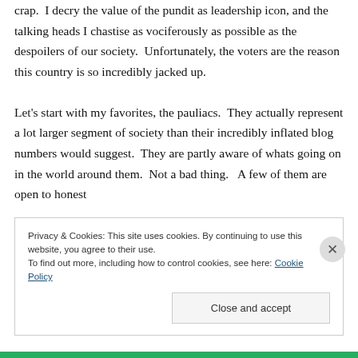crap.  I decry the value of the pundit as leadership icon, and the talking heads I chastise as vociferously as possible as the despoilers of our society.  Unfortunately, the voters are the reason this country is so incredibly jacked up.

Let's start with my favorites, the pauliacs.  They actually represent a lot larger segment of society than their incredibly inflated blog numbers would suggest.  They are partly aware of whats going on in the world around them.  Not a bad thing.   A few of them are open to honest
Privacy & Cookies: This site uses cookies. By continuing to use this website, you agree to their use.
To find out more, including how to control cookies, see here: Cookie Policy